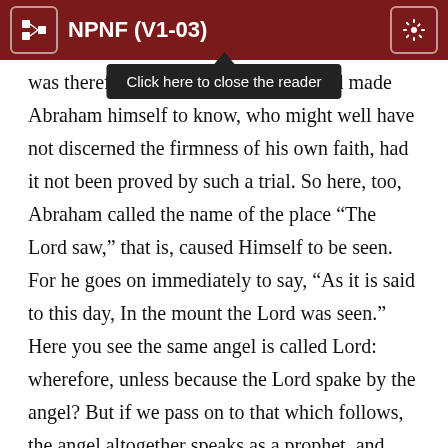NPNF (V1-03)
[Figure (screenshot): Tooltip overlay showing 'Click here to close the reader' with dark background and upward-pointing arrow]
was therefore had made Abraham himself to know, who might well have not discerned the firmness of his own faith, had it not been proved by such a trial. So here, too, Abraham called the name of the place “The Lord saw,” that is, caused Himself to be seen. For he goes on immediately to say, “As it is said to this day, In the mount the Lord was seen.” Here you see the same angel is called Lord: wherefore, unless because the Lord spake by the angel? But if we pass on to that which follows, the angel altogether speaks as a prophet, and reveals expressly that God is speaking in the words “in the mouth of the Lord.”